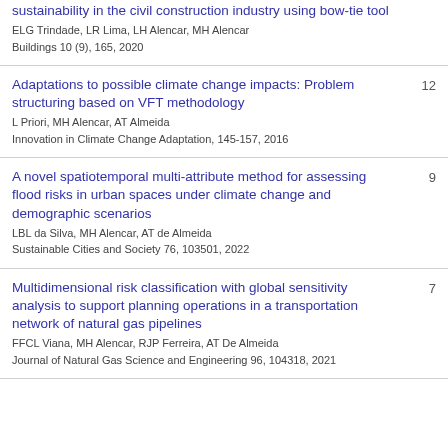sustainability in the civil construction industry using bow-tie tool
ELG Trindade, LR Lima, LH Alencar, MH Alencar
Buildings 10 (9), 165, 2020
Adaptations to possible climate change impacts: Problem structuring based on VFT methodology
L Priori, MH Alencar, AT Almeida
Innovation in Climate Change Adaptation, 145-157, 2016
12
A novel spatiotemporal multi-attribute method for assessing flood risks in urban spaces under climate change and demographic scenarios
LBL da Silva, MH Alencar, AT de Almeida
Sustainable Cities and Society 76, 103501, 2022
9
Multidimensional risk classification with global sensitivity analysis to support planning operations in a transportation network of natural gas pipelines
FFCL Viana, MH Alencar, RJP Ferreira, AT De Almeida
Journal of Natural Gas Science and Engineering 96, 104318, 2021
7